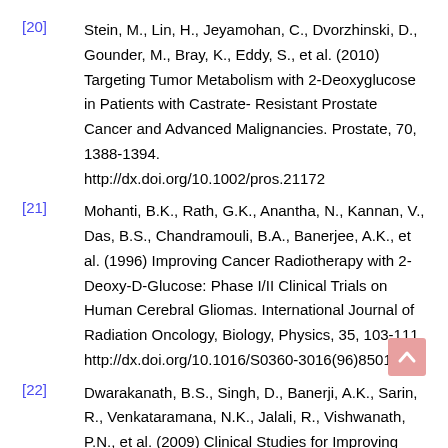[20] Stein, M., Lin, H., Jeyamohan, C., Dvorzhinski, D., Gounder, M., Bray, K., Eddy, S., et al. (2010) Targeting Tumor Metabolism with 2-Deoxyglucose in Patients with Castrate-Resistant Prostate Cancer and Advanced Malignancies. Prostate, 70, 1388-1394. http://dx.doi.org/10.1002/pros.21172
[21] Mohanti, B.K., Rath, G.K., Anantha, N., Kannan, V., Das, B.S., Chandramouli, B.A., Banerjee, A.K., et al. (1996) Improving Cancer Radiotherapy with 2-Deoxy-D-Glucose: Phase I/II Clinical Trials on Human Cerebral Gliomas. International Journal of Radiation Oncology, Biology, Physics, 35, 103-111. http://dx.doi.org/10.1016/S0360-3016(96)85017-6
[22] Dwarakanath, B.S., Singh, D., Banerji, A.K., Sarin, R., Venkataramana, N.K., Jalali, R., Vishwanath, P.N., et al. (2009) Clinical Studies for Improving Radiotherapy with 2-